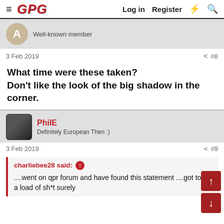≡ GPG   Log in   Register   ⚡   🔍
Well-known member
3 Feb 2019    < #8
What time were these taken?
Don't like the look of the big shadow in the corner.
PhilE
Definitely European Then :)
3 Feb 2019    < #9
charliebee28 said: ↑
....went on qpr forum and have found this statement ....got to be a load of sh*t surely